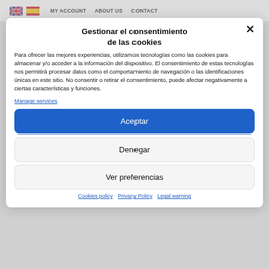MY ACCOUNT   ABOUT US   CONTACT
Gestionar el consentimiento de las cookies
Para ofrecer las mejores experiencias, utilizamos tecnologías como las cookies para almacenar y/o acceder a la información del dispositivo. El consentimiento de estas tecnologías nos permitirá procesar datos como el comportamiento de navegación o las identificaciones únicas en este sitio. No consentir o retirar el consentimiento, puede afectar negativamente a ciertas características y funciones.
Manage services
Aceptar
Denegar
Ver preferencias
Cookies policy   Privacy Policy   Legal warning